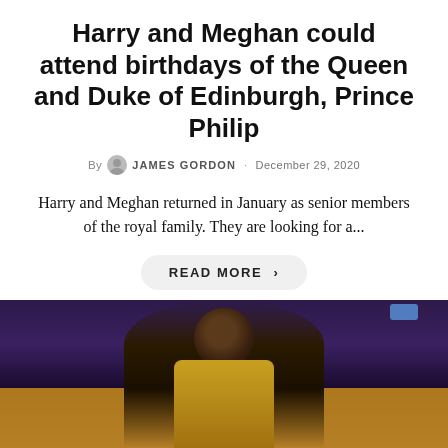Harry and Meghan could attend birthdays of the Queen and Duke of Edinburgh, Prince Philip
By JAMES GORDON · December 29, 2020
Harry and Meghan returned in January as senior members of the royal family. They are looking for a...
READ MORE ›
[Figure (photo): A basketball player in a Lakers yellow jersey on a dark purple court background]